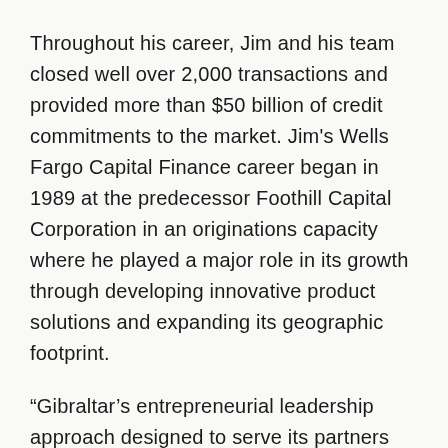Throughout his career, Jim and his team closed well over 2,000 transactions and provided more than $50 billion of credit commitments to the market. Jim's Wells Fargo Capital Finance career began in 1989 at the predecessor Foothill Capital Corporation in an originations capacity where he played a major role in its growth through developing innovative product solutions and expanding its geographic footprint.
“Gibraltar’s entrepreneurial leadership approach designed to serve its partners with fast, flexible and creative lending solutions aligns with the wealth management strategy...